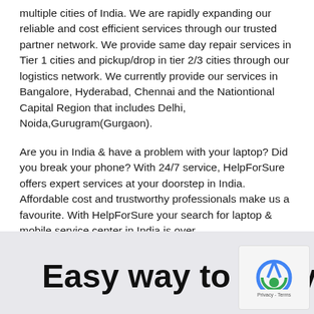multiple cities of India. We are rapidly expanding our reliable and cost efficient services through our trusted partner network. We provide same day repair services in Tier 1 cities and pickup/drop in tier 2/3 cities through our logistics network. We currently provide our services in Bangalore, Hyderabad, Chennai and the Nationtional Capital Region that includes Delhi, Noida,Gurugram(Gurgaon).
Are you in India & have a problem with your laptop? Did you break your phone? With 24/7 service, HelpForSure offers expert services at your doorstep in India. Affordable cost and trustworthy professionals make us a favourite. With HelpForSure your search for laptop & mobile service center in India is over.
lg velvet 5g Specs
Easy way to get your Ho